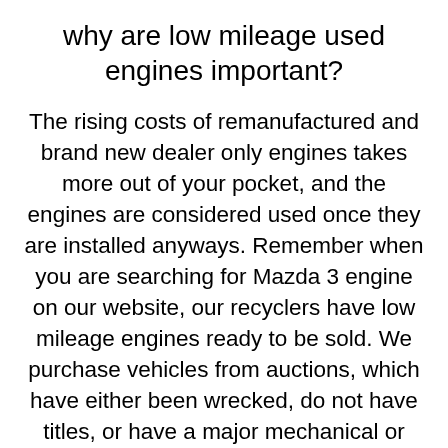why are low mileage used engines important?
The rising costs of remanufactured and brand new dealer only engines takes more out of your pocket, and the engines are considered used once they are installed anyways. Remember when you are searching for Mazda 3 engine on our website, our recyclers have low mileage engines ready to be sold. We purchase vehicles from auctions, which have either been wrecked, do not have titles, or have a major mechanical or structural issues, which prevents the vehicle from being ran on a highway. There are still valuable engines in